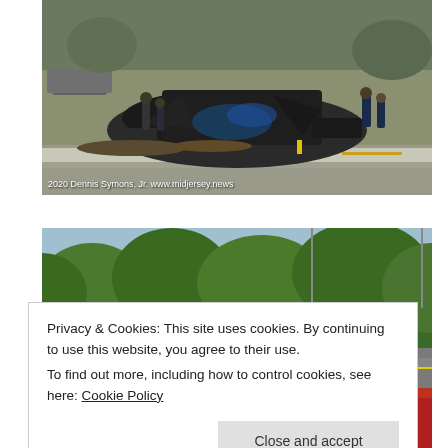[Figure (photo): Highway accident scene showing severely crushed and mangled vehicles on a road divider, with emergency responders and police officers at the scene. Photo credit: 2020 Dennis Symons, Jr. www.midjersey.news]
[Figure (photo): Aerial or elevated view of a highway surrounded by lush green trees, partially obscured by cookie consent banner overlay.]
Privacy & Cookies: This site uses cookies. By continuing to use this website, you agree to their use.
To find out more, including how to control cookies, see here: Cookie Policy
Close and accept